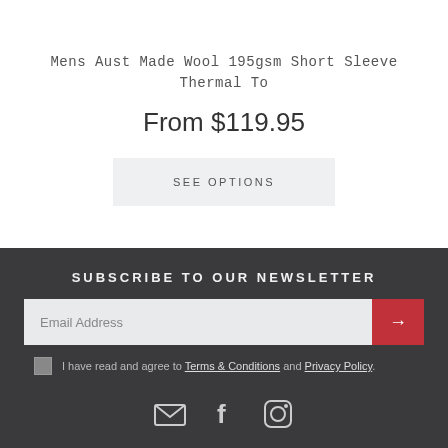Mens Aust Made Wool 195gsm Short Sleeve Thermal To
From $119.95
SEE OPTIONS
SUBSCRIBE TO OUR NEWSLETTER
Email Address
I have read and agree to Terms & Conditions and Privacy Policy.
[Figure (illustration): Social media icons: email envelope, Facebook logo, Instagram camera logo]